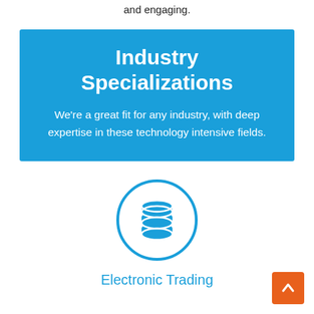and engaging.
Industry Specializations
We're a great fit for any industry, with deep expertise in these technology intensive fields.
[Figure (illustration): Blue circle icon containing a stack of coins/database symbol in blue]
Electronic Trading